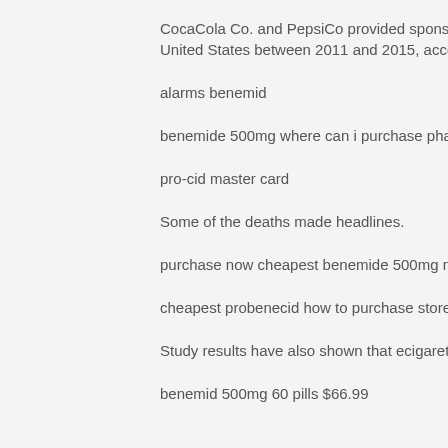CocaCola Co. and PepsiCo provided sponso United States between 2011 and 2015, acco
alarms benemid
benemide 500mg where can i purchase pha
pro-cid master card
Some of the deaths made headlines.
purchase now cheapest benemide 500mg n
cheapest probenecid how to purchase store
Study results have also shown that ecigaret
benemid 500mg 60 pills $66.99